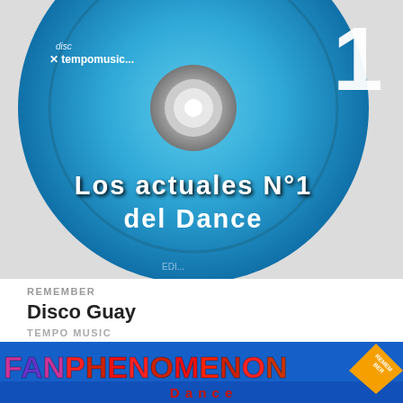[Figure (photo): Close-up of a blue CD disc labeled 'Los actuales Nº1 del Dance' with 'disc × tempomusic...' logo on the left and a large '1' on the right, on a light grey background.]
REMEMBER
Disco Guay
TEMPO MUSIC
0  0
[Figure (screenshot): Bottom banner with colorful 'FANPHENOMENON' text on blue background with an orange 'REMEMBER' diamond badge in the top right corner.]